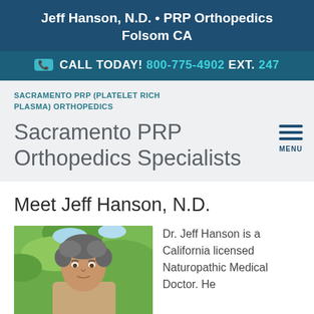Jeff Hanson, N.D. • PRP Orthopedics Folsom CA
📞 CALL TODAY! 800-775-4902 EXT. 247
SACRAMENTO PRP (PLATELET RICH PLASMA) ORTHOPEDICS
Sacramento PRP Orthopedics Specialists
Meet Jeff Hanson, N.D.
[Figure (photo): Portrait photo of Dr. Jeff Hanson, N.D., a middle-aged man with short gray hair, outdoors with green foliage in background]
Dr. Jeff Hanson is a California licensed Naturopathic Medical Doctor. He